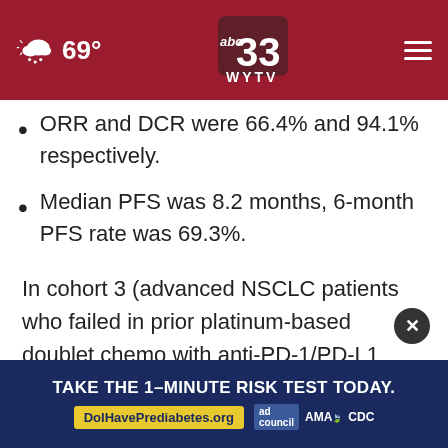[Figure (screenshot): ABC 33 WYTV navigation bar with weather (69°), logo, and hamburger menu on dark red background]
ORR and DCR were 66.4% and 94.1% respectively.
Median PFS was 8.2 months, 6-month PFS rate was 69.3%.
In cohort 3 (advanced NSCLC patients who failed in prior platinum-based doublet chemo with anti-PD-1/PD-L1 therapy):
ORR was 40.0%, DCR was 80%...
[Figure (other): Advertisement overlay: TAKE THE 1-MINUTE RISK TEST TODAY. DolHavePrediabetes.org with ad council, AMA, and CDC logos]
PFS rate was 51.1%...